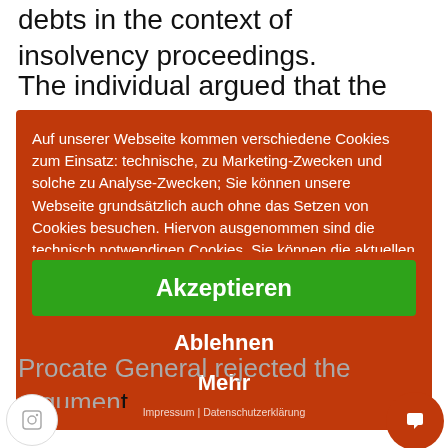debts in the context of insolvency proceedings.
The individual argued that the proceedings were no
[Figure (screenshot): Cookie consent overlay dialog in German on a red/orange background. Contains text about cookie usage: 'Auf unserer Webseite kommen verschiedene Cookies zum Einsatz: technische, zu Marketing-Zwecken und solche zu Analyse-Zwecken; Sie können unsere Webseite grundsätzlich auch ohne das Setzen von Cookies besuchen. Hiervon ausgenommen sind die technisch notwendigen Cookies. Sie können die aktuellen Einstellungen...' with three buttons: 'Akzeptieren' (green), 'Ablehnen', and 'Mehr', and a footer line 'Impressum | Datenschutzerklärung'.]
Procate General rejected the argument... data processing is undertaken purely by US pa...
The Advocate General stated that...